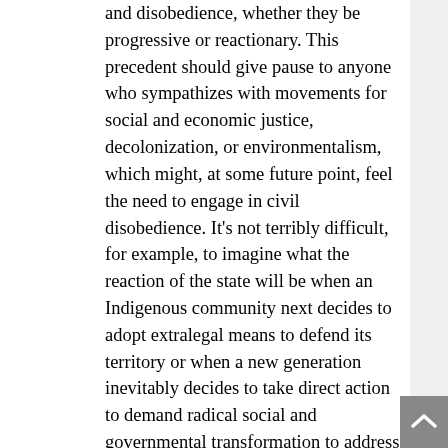and disobedience, whether they be progressive or reactionary. This precedent should give pause to anyone who sympathizes with movements for social and economic justice, decolonization, or environmentalism, which might, at some future point, feel the need to engage in civil disobedience. It's not terribly difficult, for example, to imagine what the reaction of the state will be when an Indigenous community next decides to adopt extralegal means to defend its territory or when a new generation inevitably decides to take direct action to demand radical social and governmental transformation to address the pressing climate crisis we are facing. While this exceptional legislative measure was used on this occasion against a group with reactionary impulses that we find repugnant, there is nothing to guarantee that it won't be invoked in the future to squash demands that we feel a strong commitment to. History teaches us that repression is almost always much more energetically and forcefully used against progressive